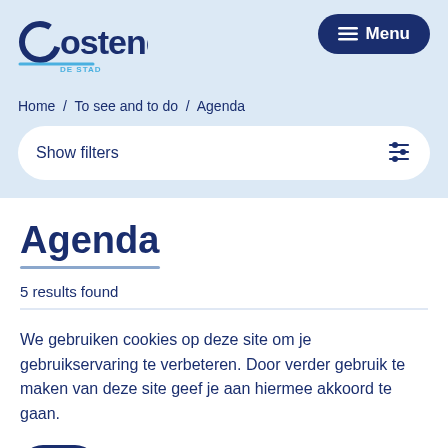[Figure (logo): Oostende De Stad Aan Zee logo with circular letter O and teal underline]
≡ Menu
Home / To see and to do / Agenda
Show filters
Agenda
5 results found
We gebruiken cookies op deze site om je gebruikservaring te verbeteren. Door verder gebruik te maken van deze site geef je aan hiermee akkoord te gaan.
OK
Meer info